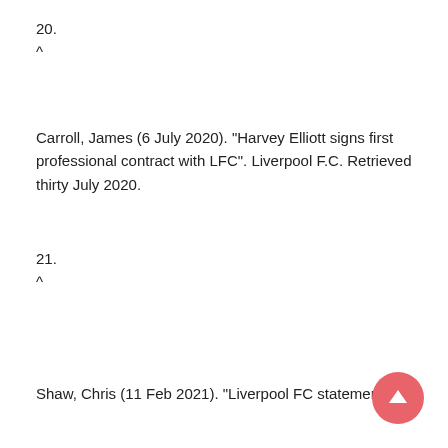20.
^
Carroll, James (6 July 2020). "Harvey Elliott signs first professional contract with LFC". Liverpool F.C. Retrieved thirty July 2020.
21.
^
Shaw, Chris (11 Feb 2021). "Liverpool FC statement on Harvey Elliott from joining LFC. Retrieved...